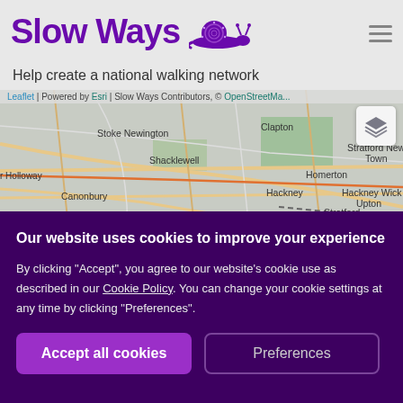Slow Ways
Help create a national walking network
[Figure (map): Interactive street map of London showing areas including Stoke Newington, Clapton, Shacklewell, Homerton, Stratford New Town, Canonbury, Hackney, Hackney Wick, Stratford, Islington, Haggerston, Upton]
Our website uses cookies to improve your experience
By clicking "Accept", you agree to our website's cookie use as described in our Cookie Policy. You can change your cookie settings at any time by clicking "Preferences".
Accept all cookies
Preferences